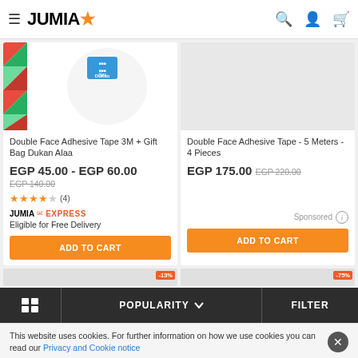JUMIA — navigation header with menu, search, account, cart
[Figure (screenshot): Product image for Double Face Adhesive Tape 3M + Gift Bag Dukan Alaa — colorful triangles pattern and white shirt with blue tag]
Double Face Adhesive Tape 3M + Gift Bag Dukan Alaa
EGP 45.00 - EGP 60.00
EGP 140.00 (crossed out)
★★★★☆ (4)
JUMIA EXPRESS — Eligible for Free Delivery
ADD TO CART
[Figure (screenshot): Product image for Double Face Adhesive Tape - 5 Meters - 4 Pieces — grey/white background]
Double Face Adhesive Tape - 5 Meters - 4 Pieces
EGP 175.00  EGP 220.00 (crossed out)
Sponsored ⓘ
ADD TO CART
POPULARITY ∨  |  FILTER
This website uses cookies. For further information on how we use cookies you can read our Privacy and Cookie notice